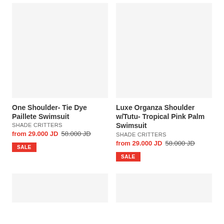[Figure (photo): Product image placeholder for One Shoulder Tie Dye Paillete Swimsuit, light gray background]
[Figure (photo): Product image placeholder for Luxe Organza Shoulder w/Tutu Tropical Pink Palm Swimsuit, light gray background]
One Shoulder- Tie Dye Paillete Swimsuit
SHADE CRITTERS
from 29.000 JD  58.000 JD
SALE
Luxe Organza Shoulder w/Tutu- Tropical Pink Palm Swimsuit
SHADE CRITTERS
from 29.000 JD  58.000 JD
SALE
[Figure (photo): Product image placeholder bottom left, light gray background]
[Figure (photo): Product image placeholder bottom right, light gray background]